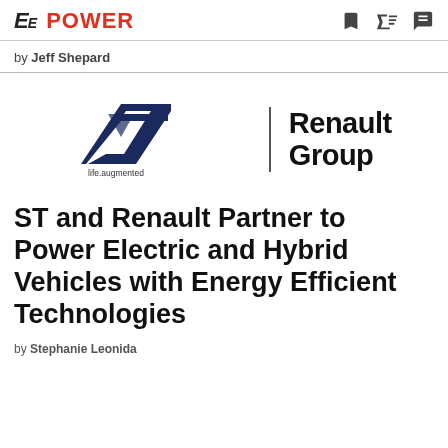EE POWER
by Jeff Shepard
[Figure (logo): ST Microelectronics logo with 'life.augmented' tagline and Renault Group logo side by side, separated by a vertical line]
ST and Renault Partner to Power Electric and Hybrid Vehicles with Energy Efficient Technologies
by Stephanie Leonida